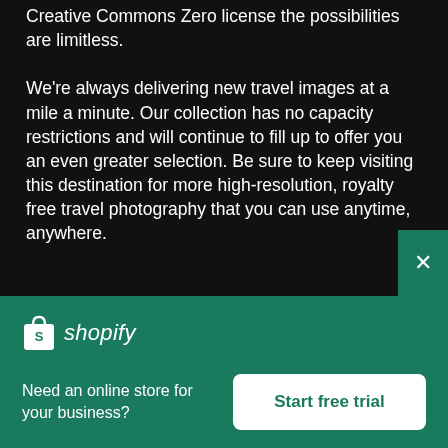Creative Commons Zero license the possibilities are limitless.

We're always delivering new travel images at a mile a minute. Our collection has no capacity restrictions and will continue to fill up to offer you an even greater selection. Be sure to keep visiting this destination for more high-resolution, royalty free travel photography that you can use anytime, anywhere.
[Figure (logo): Shopify logo with shopping bag icon and italic 'shopify' wordmark in white on teal background]
Need an online store for your business?
Start free trial